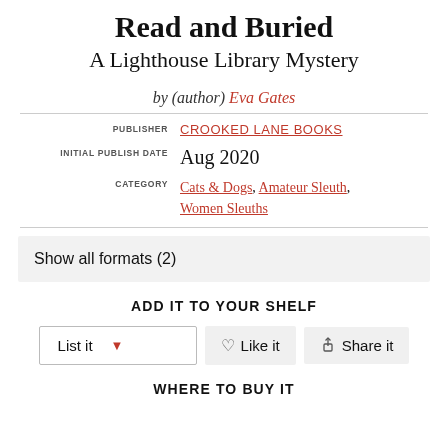Read and Buried
A Lighthouse Library Mystery
by (author) Eva Gates
PUBLISHER CROOKED LANE BOOKS
INITIAL PUBLISH DATE Aug 2020
CATEGORY Cats & Dogs, Amateur Sleuth, Women Sleuths
Show all formats (2)
ADD IT TO YOUR SHELF
List it  Like it  Share it
WHERE TO BUY IT